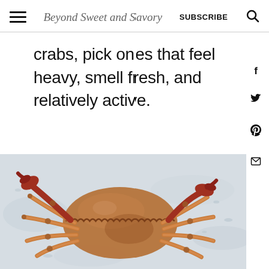Beyond Sweet and Savory | SUBSCRIBE
crabs, pick ones that feel heavy, smell fresh, and relatively active.
[Figure (photo): A whole raw Dungeness crab with orange-brown shell and legs, placed on crushed ice against a light grey background with water droplets.]